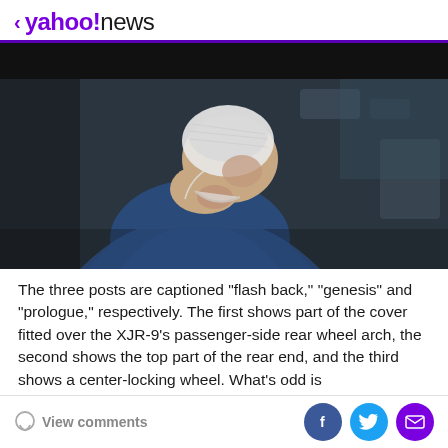< yahoo!news
[Figure (photo): A medical worker wearing blue scrubs and a white hair net, head bowed, in a hospital setting. The image has a dark cinematic tone.]
The three posts are captioned "flash back," "genesis" and "prologue," respectively. The first shows part of the cover fitted over the XJR-9's passenger-side rear wheel arch, the second shows the top part of the rear end, and the third shows a center-locking wheel. What's odd is
View comments